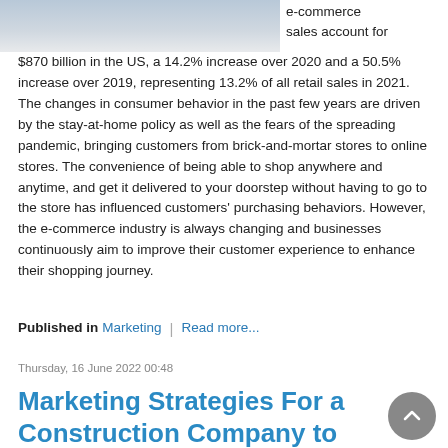[Figure (photo): Partial photo of hands or objects on a table/desk, cropped at top of page]
e-commerce sales account for $870 billion in the US, a 14.2% increase over 2020 and a 50.5% increase over 2019, representing 13.2% of all retail sales in 2021. The changes in consumer behavior in the past few years are driven by the stay-at-home policy as well as the fears of the spreading pandemic, bringing customers from brick-and-mortar stores to online stores. The convenience of being able to shop anywhere and anytime, and get it delivered to your doorstep without having to go to the store has influenced customers' purchasing behaviors. However, the e-commerce industry is always changing and businesses continuously aim to improve their customer experience to enhance their shopping journey.
Published in  Marketing  |  Read more...
Thursday, 16 June 2022 00:48
Marketing Strategies For a Construction Company to